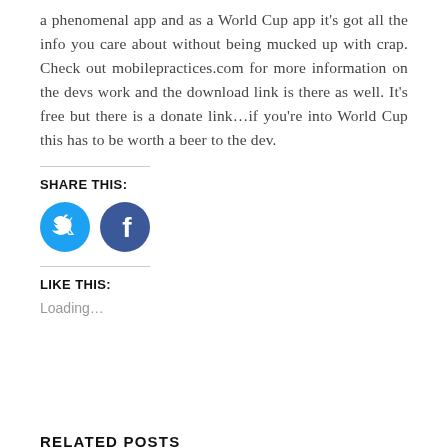a phenomenal app and as a World Cup app it's got all the info you care about without being mucked up with crap. Check out mobilepractices.com for more information on the devs work and the download link is there as well. It's free but there is a donate link…if you're into World Cup this has to be worth a beer to the dev.
SHARE THIS:
[Figure (other): Twitter and Facebook circular social share icon buttons in blue]
LIKE THIS:
Loading…
RELATED POSTS